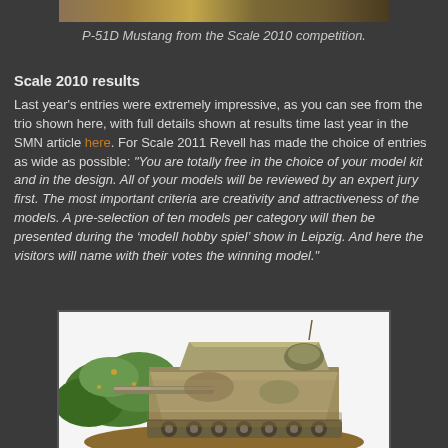[Figure (photo): Top portion of a photo showing a P-51D Mustang model from the Scale 2010 competition, showing desert camouflage coloring.]
P-51D Mustang from the Scale 2010 competition.
Scale 2010 results
Last year's entries were extremely impressive, as you can see from the trio shown here, with full details shown at results time last year in the SMN article here. For Scale 2011 Revell has made the choice of entries as wide as possible: "You are totally free in the choice of your model kit and in the design. All of your models will be reviewed by an expert jury first. The most important criteria are creativity and attractiveness of the models. A pre-selection of ten models per category will then be presented during the ‘modell hobby spiel’ show in Leipzig. And here the visitors will name with their votes the winning model."
[Figure (photo): Photo of a detailed scale model of a WWII German tank (StuG or similar assault gun) on a diorama base with green grass/foliage, viewed from above at an angle, showing weathering and camouflage paint.]